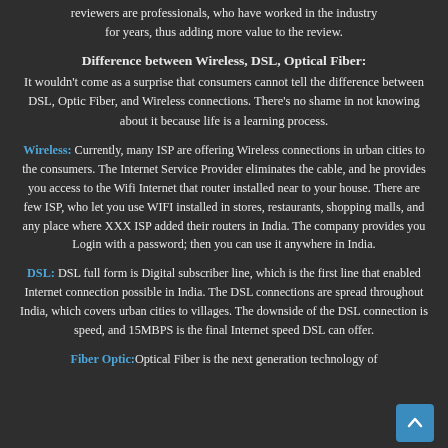reviewers are professionals, who have worked in the industry for years, thus adding more value to the review.
Difference between Wireless, DSL, Optical Fiber:
It wouldn't come as a surprise that consumers cannot tell the difference between DSL, Optic Fiber, and Wireless connections. There's no shame in not knowing about it because life is a learning process.
Wireless: Currently, many ISP are offering Wireless connections in urban cities to the consumers. The Internet Service Provider eliminates the cable, and he provides you access to the Wifi Internet that router installed near to your house. There are few ISP, who let you use WIFI installed in stores, restaurants, shopping malls, and any place where XXX ISP added their routers in India. The company provides you Login with a password; then you can use it anywhere in India.
DSL: DSL full form is Digital subscriber line, which is the first line that enabled Internet connection possible in India. The DSL connections are spread throughout India, which covers urban cities to villages. The downside of the DSL connection is speed, and 15MBPS is the final Internet speed DSL can offer.
Fiber Optic: Optical Fiber is the next generation technology of